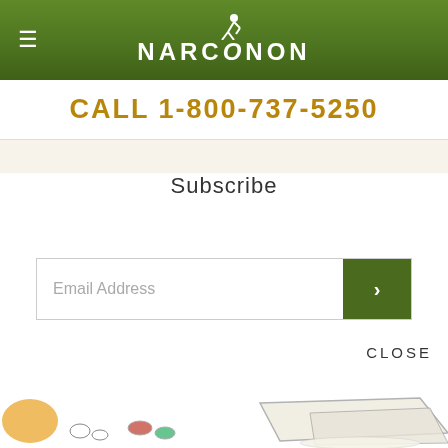NARCONON
CALL 1-800-737-5250
Subscribe
Email Address
CLOSE
[Figure (illustration): Illustration of pills, capsules, and powder on white background]